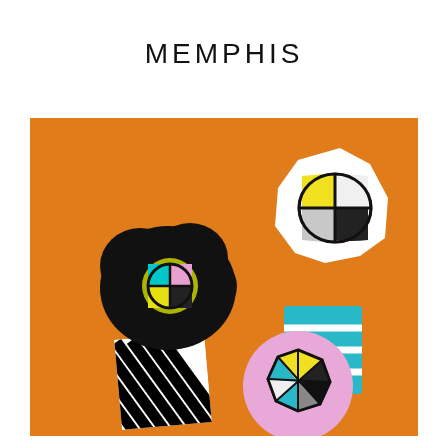MEMPHIS
[Figure (illustration): Abstract Memphis-style artwork on orange background featuring two flower-like figures made of collage elements. Left figure: black cloud-like blob atop a black-and-white diagonal striped rectangular stem, with a circular motif showing cyan, pink, yellow, and black cross pattern. Right figure: white irregular polygon shape atop a teal/cyan striped rectangle, with the white shape containing a yellow, black, and purple diamond cross pattern. A pink circle in the lower center contains a dark hexagon with yellow and cyan sections. Background is vivid orange.]